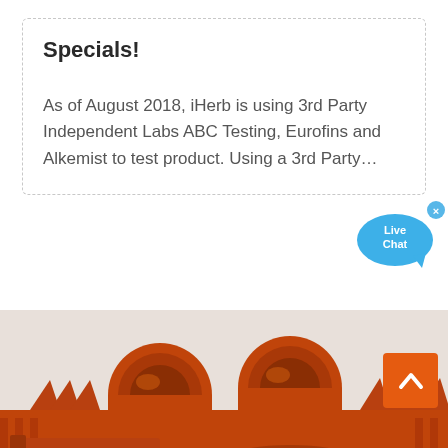Specials!
As of August 2018, iHerb is using 3rd Party Independent Labs ABC Testing, Eurofins and Alkemist to test product. Using a 3rd Party…
[Figure (illustration): Live Chat speech bubble widget in blue, with an X close button, overlapping the top-right corner of the dashed-border content box.]
[Figure (photo): Large orange industrial machinery with cylindrical rollers and metal framework, photographed from above/side angle, filling the bottom half of the page.]